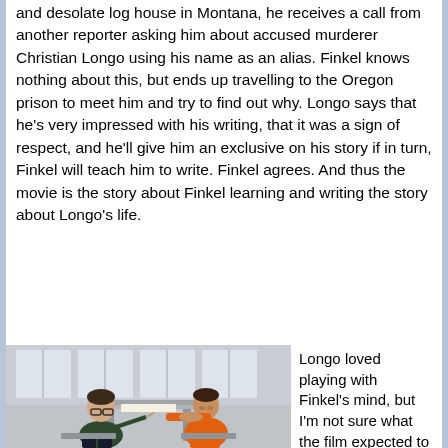and desolate log house in Montana, he receives a call from another reporter asking him about accused murderer Christian Longo using his name as an alias. Finkel knows nothing about this, but ends up travelling to the Oregon prison to meet him and try to find out why. Longo says that he's very impressed with his writing, that it was a sign of respect, and he'll give him an exclusive on his story if in turn, Finkel will teach him to write. Finkel agrees. And thus the movie is the story about Finkel learning and writing the story about Longo's life.
[Figure (photo): Two men sitting across from each other at a metal table in what appears to be a prison visitation room. One man on the left wears a dark green sweater and holds a pen, taking notes. The man on the right wears an orange prison jumpsuit and leans forward with hands clasped.]
Longo loved playing with Finkel's mind, but I'm not sure what the film expected to get out of